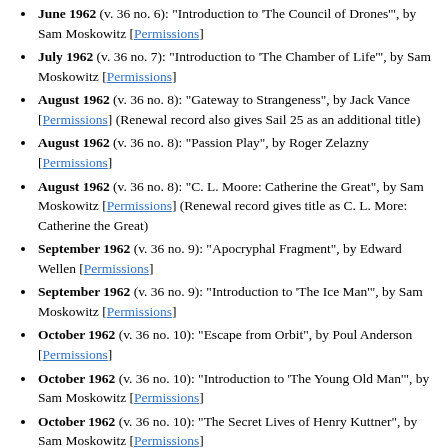June 1962 (v. 36 no. 6): "Introduction to 'The Council of Drones'", by Sam Moskowitz [Permissions]
July 1962 (v. 36 no. 7): "Introduction to 'The Chamber of Life'", by Sam Moskowitz [Permissions]
August 1962 (v. 36 no. 8): "Gateway to Strangeness", by Jack Vance [Permissions] (Renewal record also gives Sail 25 as an additional title)
August 1962 (v. 36 no. 8): "Passion Play", by Roger Zelazny [Permissions]
August 1962 (v. 36 no. 8): "C. L. Moore: Catherine the Great", by Sam Moskowitz [Permissions] (Renewal record gives title as C. L. More: Catherine the Great)
September 1962 (v. 36 no. 9): "Apocryphal Fragment", by Edward Wellen [Permissions]
September 1962 (v. 36 no. 9): "Introduction to 'The Ice Man'", by Sam Moskowitz [Permissions]
October 1962 (v. 36 no. 10): "Escape from Orbit", by Poul Anderson [Permissions]
October 1962 (v. 36 no. 10): "Introduction to 'The Young Old Man'", by Sam Moskowitz [Permissions]
October 1962 (v. 36 no. 10): "The Secret Lives of Henry Kuttner", by Sam Moskowitz [Permissions]
November 1962 (v. 36 no. 11): "Introduction to 'The Planet of the Double Sun'", by Sam Moskowitz [Permissions] (Renewal record gives title as Introduction to 'Planet of the